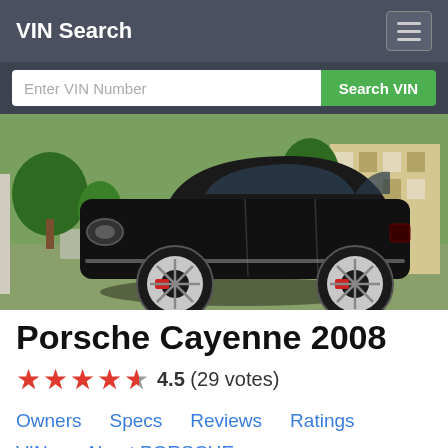VIN Search
Enter VIN Number   Search VIN
[Figure (photo): Black Porsche Cayenne 2008 SUV parked in front of a building with trees and green grass in the background, 3D rendered scene]
Porsche Cayenne 2008
4.5 (29 votes)
Owners
Specs
Reviews
Ratings
VINs
About PORSCHE